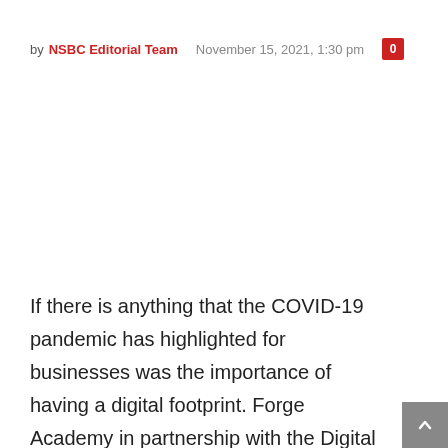by NSBC Editorial Team   November 15, 2021, 1:30 pm   0
If there is anything that the COVID-19 pandemic has highlighted for businesses was the importance of having a digital footprint. Forge Academy in partnership with the Digital Marketing Institute (DMI) offers 6 digital marketing